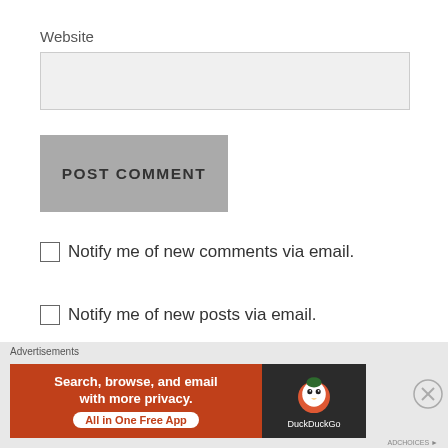Website
POST COMMENT
Notify me of new comments via email.
Notify me of new posts via email.
[Figure (screenshot): Partial handwritten text visible at bottom of page]
Advertisements
[Figure (infographic): DuckDuckGo advertisement banner: 'Search, browse, and email with more privacy. All in One Free App' with DuckDuckGo logo on dark background]